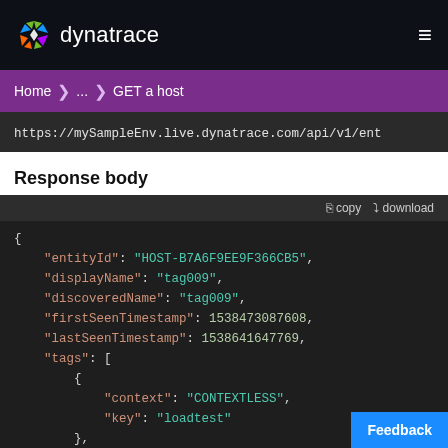dynatrace
Home > ... > GET a host
https://mySampleEnv.live.dynatrace.com/api/v1/ent
Response body
copy  download
{
    "entityId": "HOST-B7A6F9EE9F366CB5",
    "displayName": "tag009",
    "discoveredName": "tag009",
    "firstSeenTimestamp": 1538473087608,
    "lastSeenTimestamp": 1538641647769,
    "tags": [
        {
            "context": "CONTEXTLESS",
            "key": "loadtest"
        },
        {